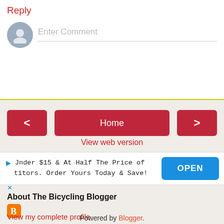Reply
Enter Comment
Home
View web version
[Figure (screenshot): Advertisement banner: 'Under $15 & At Half The Price of competitors. Order Yours Today & Save!' with OPEN button]
About The Bicycling Blogger
View my complete profile
Powered by Blogger.